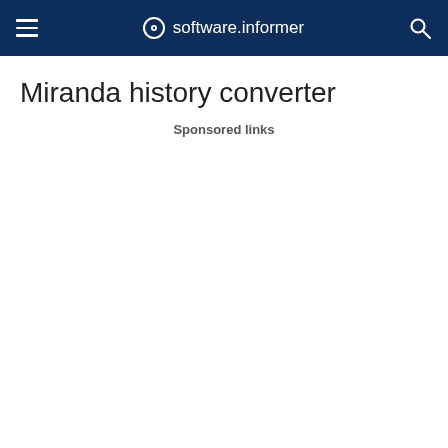software.informer
Miranda history converter
Sponsored links